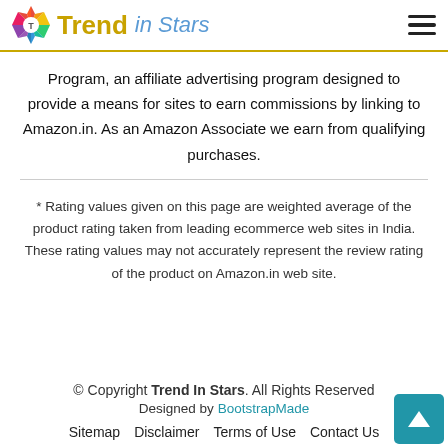Trend in Stars
Program, an affiliate advertising program designed to provide a means for sites to earn commissions by linking to Amazon.in. As an Amazon Associate we earn from qualifying purchases.
* Rating values given on this page are weighted average of the product rating taken from leading ecommerce web sites in India. These rating values may not accurately represent the review rating of the product on Amazon.in web site.
© Copyright Trend In Stars. All Rights Reserved
Designed by BootstrapMade
Sitemap  Disclaimer  Terms of Use  Contact Us